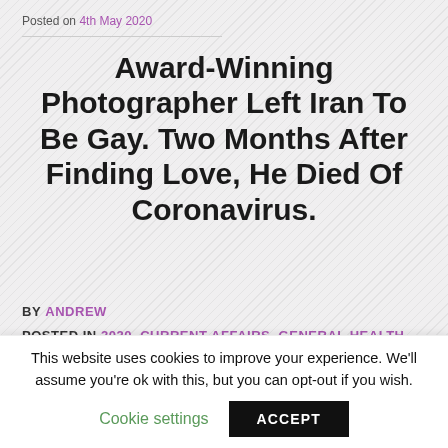Posted on 4th May 2020
Award-Winning Photographer Left Iran To Be Gay. Two Months After Finding Love, He Died Of Coronavirus.
BY  ANDREW
POSTED IN  2020, CURRENT AFFAIRS, GENERAL HEALTH, HEALTH, MEN, NEWS, NEWS ARCHIVE, NHS & DHS, OBITUARY, RELIGION, WORLD
[Figure (photo): Partial photograph of a person, cropped at bottom of content area]
This website uses cookies to improve your experience. We'll assume you're ok with this, but you can opt-out if you wish.
Cookie settings   ACCEPT